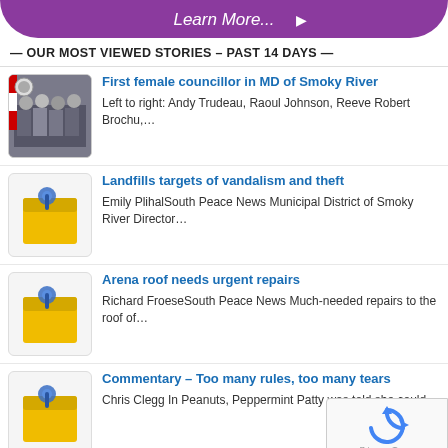[Figure (illustration): Purple rounded banner with 'Learn More...' text and cursor icon]
— OUR MOST VIEWED STORIES – PAST 14 DAYS —
[Figure (photo): Group photo of councillors in MD of Smoky River]
First female councillor in MD of Smoky River
Left to right: Andy Trudeau, Raoul Johnson, Reeve Robert Brochu,…
[Figure (illustration): Yellow sticky note with blue thumbtack icon]
Landfills targets of vandalism and theft
Emily PlihalSouth Peace News Municipal District of Smoky River Director…
[Figure (illustration): Yellow sticky note with blue thumbtack icon]
Arena roof needs urgent repairs
Richard FroeseSouth Peace News Much-needed repairs to the roof of…
[Figure (illustration): Yellow sticky note with blue thumbtack icon]
Commentary – Too many rules, too many tears
Chris Clegg In Peanuts, Peppermint Patty was told she could.
[Figure (illustration): Yellow sticky note with blue thumbtack icon]
Smoky River Chamber of Commerce working o
Emily PlihalSouth Peace News Smoky River Chamber of